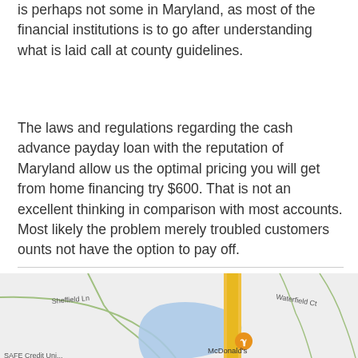is perhaps not some in Maryland, as most of the financial institutions is to go after understanding what is laid call at county guidelines.
The laws and regulations regarding the cash advance payday loan with the reputation of Maryland allow us the optimal pricing you will get from home financing try $600. That is not an excellent thinking in comparison with most accounts. Most likely the problem merely troubled customers ounts not have the option to pay off.
[Figure (map): Google Maps screenshot showing a local area map with streets including Sheffield Ln and Waterfield Ct, a McDonald's marker, and a blue water body.]